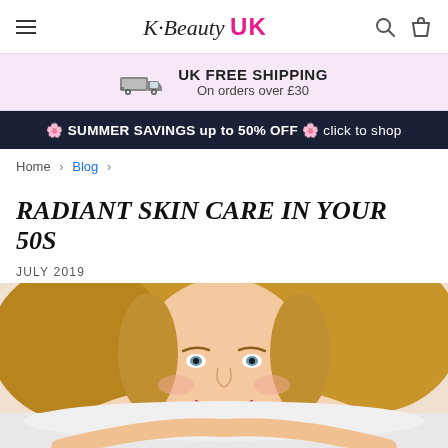K-Beauty UK — navigation bar with hamburger menu, logo, search and bag icons
UK FREE SHIPPING On orders over £30
🌸 SUMMER SAVINGS up to 50% OFF 🌸 click to shop
Home › Blog ›
RADIANT SKIN CARE IN YOUR 50S
JULY 2019
[Figure (photo): Smiling middle-aged woman with blonde hair lying down, looking at camera]